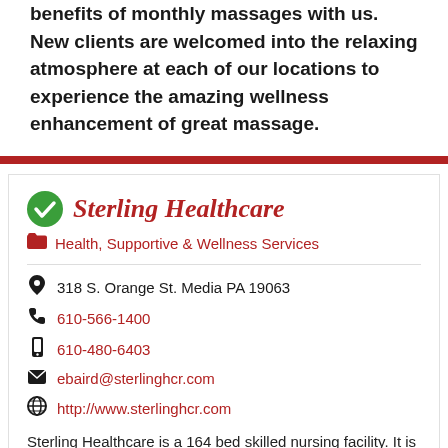benefits of monthly massages with us. New clients are welcomed into the relaxing atmosphere at each of our locations to experience the amazing wellness enhancement of great massage.
Sterling Healthcare
Health, Supportive & Wellness Services
318 S. Orange St. Media PA 19063
610-566-1400
610-480-6403
ebaird@sterlinghcr.com
http://www.sterlinghcr.com
Sterling Healthcare is a 164 bed skilled nursing facility. It is